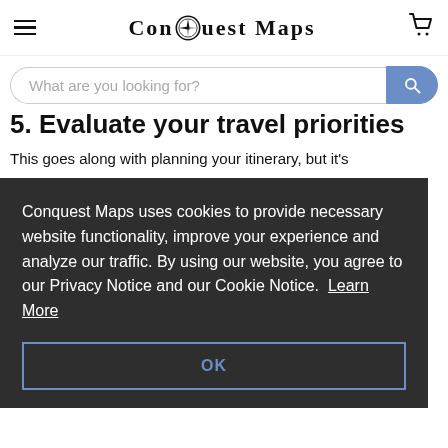Conquest Maps
What are you looking for?
5. Evaluate your travel priorities
This goes along with planning your itinerary, but it's
Conquest Maps uses cookies to provide necessary website functionality, improve your experience and analyze our traffic. By using our website, you agree to our Privacy Notice and our Cookie Notice. Learn More
OK
when it ou'll travel u're a veland, ryone. others happy